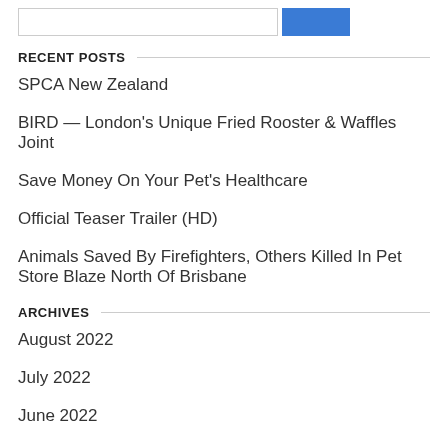RECENT POSTS
SPCA New Zealand
BIRD — London's Unique Fried Rooster & Waffles Joint
Save Money On Your Pet's Healthcare
Official Teaser Trailer (HD)
Animals Saved By Firefighters, Others Killed In Pet Store Blaze North Of Brisbane
ARCHIVES
August 2022
July 2022
June 2022